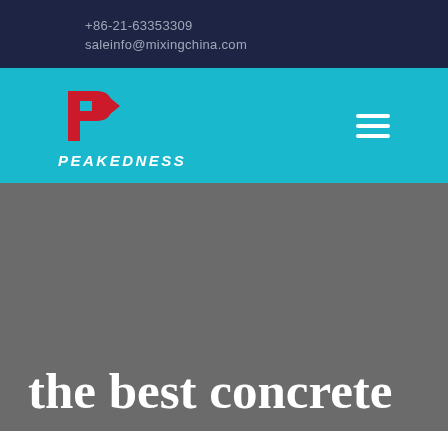+86-21-63353309
saleinfo@mixingchina.com
[Figure (logo): Peakedness logo: red stylized P icon above the word PEAKEDNESS in white italic bold text, on a cyan background]
the best concrete